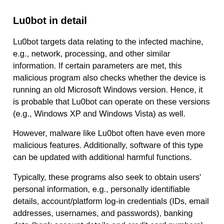Lu0bot in detail
Lu0bot targets data relating to the infected machine, e.g., network, processing, and other similar information. If certain parameters are met, this malicious program also checks whether the device is running an old Microsoft Windows version. Hence, it is probable that Lu0bot can operate on these versions (e.g., Windows XP and Windows Vista) as well.
However, malware like Lu0bot often have even more malicious features. Additionally, software of this type can be updated with additional harmful functions.
Typically, these programs also seek to obtain users' personal information, e.g., personally identifiable details, account/platform log-in credentials (IDs, email addresses, usernames, and passwords), banking data (bank account details and credit card numbers), and so on.